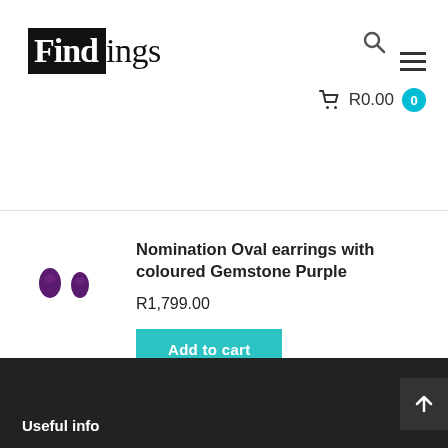[Figure (logo): Findings store logo — 'Find' in white on black box, 'ings' in black serif text]
[Figure (other): Search magnifying glass icon]
[Figure (other): Hamburger menu icon (three horizontal lines)]
R0.00  0
[Figure (photo): Two small purple oval gemstone earrings]
Nomination Oval earrings with coloured Gemstone Purple
R1,799.00
Add to cart
Useful info